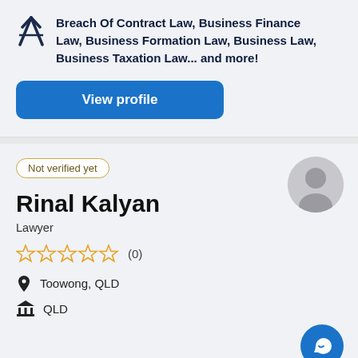Breach Of Contract Law, Business Finance Law, Business Formation Law, Business Law, Business Taxation Law... and more!
View profile
Not verified yet
Rinal Kalyan
Lawyer
☆☆☆☆☆ (0)
Toowong, QLD
QLD